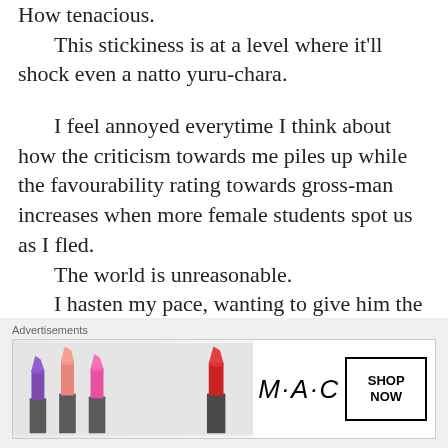How tenacious.
    This stickiness is at a level where it'll shock even a natto yuru-chara.
I feel annoyed everytime I think about how the criticism towards me piles up while the favourability rating towards gross-man increases when more female students spot us as I fled.
    The world is unreasonable.
    I hasten my pace, wanting to give him the slip this time too.
Gross-man, too, pursued in order to not be given the slip.
    As I moved while looking for a place to hide, a hand
Advertisements
[Figure (photo): MAC cosmetics advertisement banner showing three lipsticks in purple, peach/pink, and red colors with the MAC logo and a SHOP NOW button]